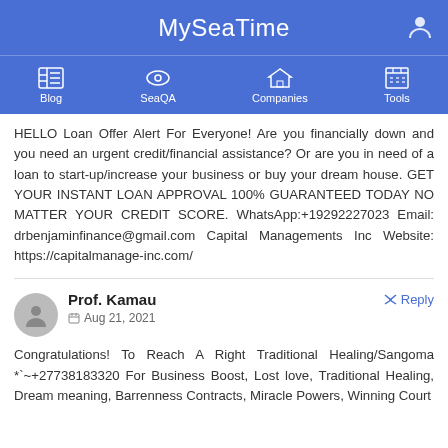MySeaTime
[Figure (screenshot): Navigation bar with Blog, SeaQA, Companies, Tools icons]
HELLO Loan Offer Alert For Everyone! Are you financially down and you need an urgent credit/financial assistance? Or are you in need of a loan to start-up/increase your business or buy your dream house. GET YOUR INSTANT LOAN APPROVAL 100% GUARANTEED TODAY NO MATTER YOUR CREDIT SCORE. WhatsApp:+19292227023 Email: drbenjaminfinance@gmail.com Capital Managements Inc Website: https://capitalmanage-inc.com/
Prof. Kamau — Aug 21, 2021 — Congratulations! To Reach A Right Traditional Healing/Sangoma *`~+27738183320 For Business Boost, Lost love, Traditional Healing, Dream meaning, Barrenness Contracts, Miracle Powers, Winning Court